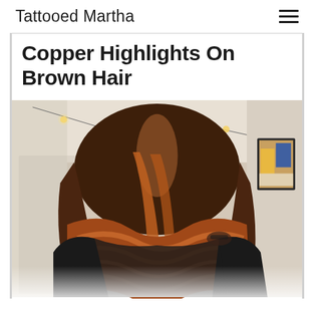Tattooed Martha
Copper Highlights On Brown Hair
[Figure (photo): Back view of a woman with long, wavy copper and brown highlighted hair in a hair salon setting]